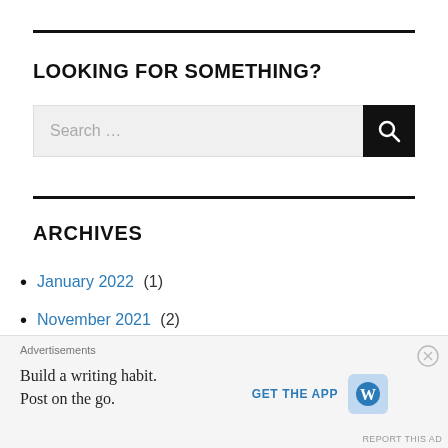LOOKING FOR SOMETHING?
Search ...
ARCHIVES
January 2022 (1)
November 2021 (2)
October 2021 (1)
Advertisements
Build a writing habit.
Post on the go.
GET THE APP